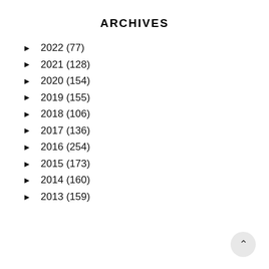ARCHIVES
► 2022 (77)
► 2021 (128)
► 2020 (154)
► 2019 (155)
► 2018 (106)
► 2017 (136)
► 2016 (254)
► 2015 (173)
► 2014 (160)
► 2013 (159)